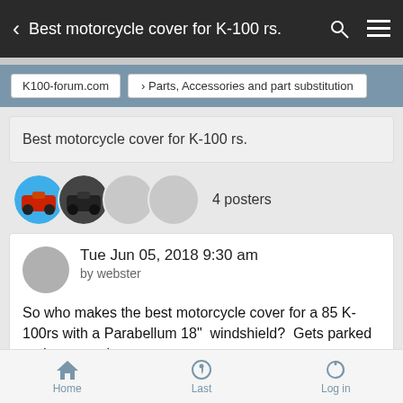Best motorcycle cover for K-100 rs.
K100-forum.com  > Parts, Accessories and part substitution
Best motorcycle cover for K-100 rs.
4 posters
Tue Jun 05, 2018 9:30 am
by webster
So who makes the best motorcycle cover for a 85 K-100rs with a Parabellum 18"  windshield?  Gets parked under eave along
Home  Last  Log in